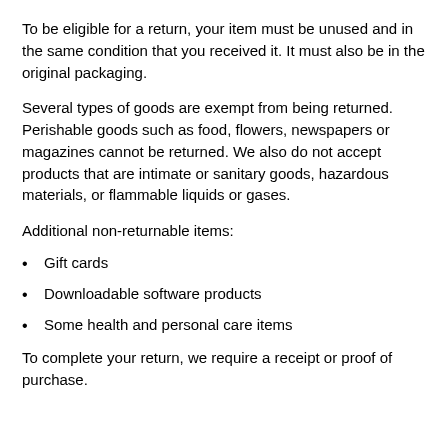To be eligible for a return, your item must be unused and in the same condition that you received it. It must also be in the original packaging.
Several types of goods are exempt from being returned. Perishable goods such as food, flowers, newspapers or magazines cannot be returned. We also do not accept products that are intimate or sanitary goods, hazardous materials, or flammable liquids or gases.
Additional non-returnable items:
Gift cards
Downloadable software products
Some health and personal care items
To complete your return, we require a receipt or proof of purchase.